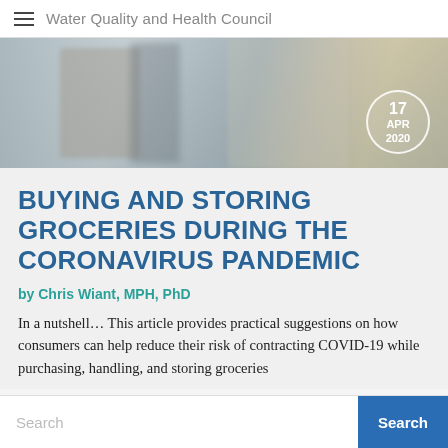Water Quality and Health Council
[Figure (photo): Blurred photo of a woman in a grocery store holding a can, with shelves of products in the background. A date circle overlay reads '17 APR 2020'.]
BUYING AND STORING GROCERIES DURING THE CORONAVIRUS PANDEMIC
by Chris Wiant, MPH, PhD
In a nutshell… This article provides practical suggestions on how consumers can help reduce their risk of contracting COVID-19 while purchasing, handling, and storing groceries